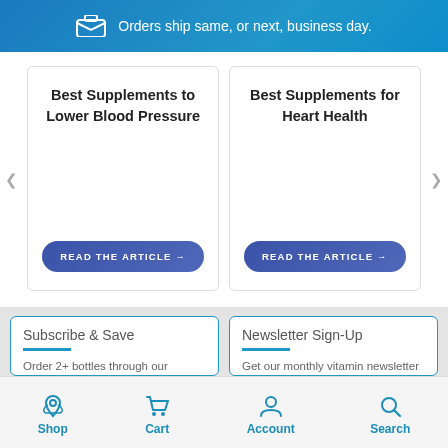Orders ship same, or next, business day.
Best Supplements to Lower Blood Pressure
READ THE ARTICLE →
Best Supplements for Heart Health
READ THE ARTICLE →
Subscribe & Save
Order 2+ bottles through our subscription program and get free
Newsletter Sign-Up
Get our monthly vitamin newsletter delivered to your in-box.
Shop   Cart   Account   Search